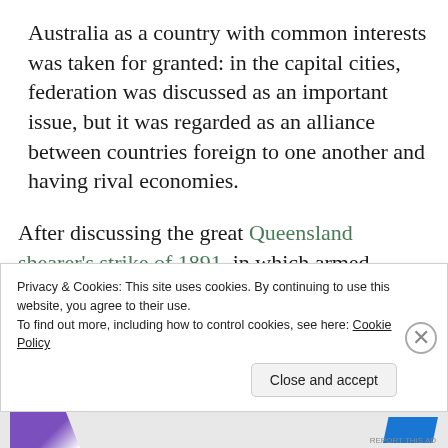Australia as a country with common interests was taken for granted: in the capital cities, federation was discussed as an important issue, but it was regarded as an alliance between countries foreign to one another and having rival economies.
After discussing the great Queensland shearer's strike of 1891, in which armed soldiers protected non-union labour, Palmer writes that
political democracy had not been fully
Privacy & Cookies: This site uses cookies. By continuing to use this website, you agree to their use.
To find out more, including how to control cookies, see here: Cookie Policy
Close and accept